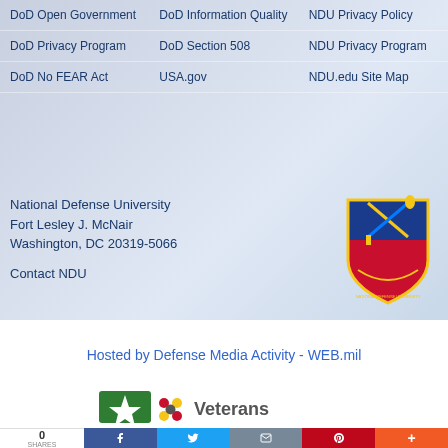|  |  |  |
| --- | --- | --- |
| DoD Open Government | DoD Information Quality | NDU Privacy Policy |
| DoD Privacy Program | DoD Section 508 | NDU Privacy Program |
| DoD No FEAR Act | USA.gov | NDU.edu Site Map |
National Defense University
Fort Lesley J. McNair
Washington, DC 20319-5066
Contact NDU
[Figure (logo): National Defense University seal/crest with crossed sword and torch, blue shield with red and gold elements]
Hosted by Defense Media Activity - WEB.mil
[Figure (logo): Veterans logo with star icon and colored dots]
0
SHARES